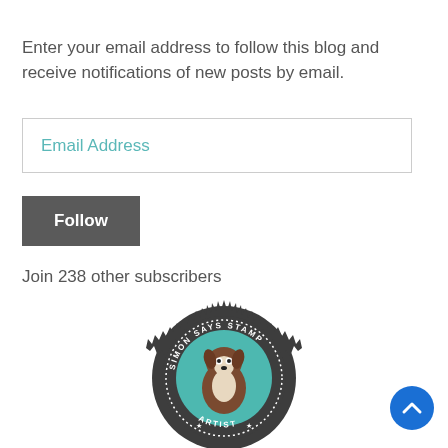Enter your email address to follow this blog and receive notifications of new posts by email.
[Figure (other): Email address input field with placeholder text 'Email Address' in teal color, bordered box]
[Figure (other): Dark gray 'Follow' button]
Join 238 other subscribers
[Figure (logo): Simon Says Stamp Artist circular badge logo with a dog illustration on teal background, dark gray spiked border with dotted text ring]
[Figure (other): Blue circular scroll-to-top button with upward chevron arrow in bottom right corner]